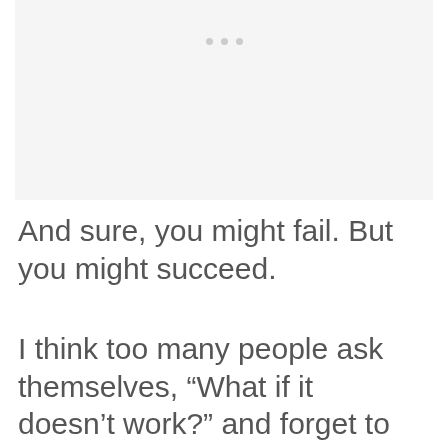[Figure (other): Light gray placeholder image area with three small gray dots near the top center]
And sure, you might fail. But you might succeed.
I think too many people ask themselves, “What if it doesn’t work?” and forget to ask, “What if it does work?”